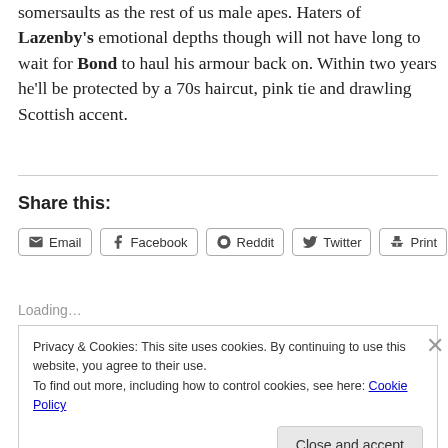somersaults as the rest of us male apes. Haters of Lazenby's emotional depths though will not have long to wait for Bond to haul his armour back on. Within two years he'll be protected by a 70s haircut, pink tie and drawling Scottish accent.
Share this:
Email | Facebook | Reddit | Twitter | Print
Loading...
Privacy & Cookies: This site uses cookies. By continuing to use this website, you agree to their use.
To find out more, including how to control cookies, see here: Cookie Policy
Close and accept